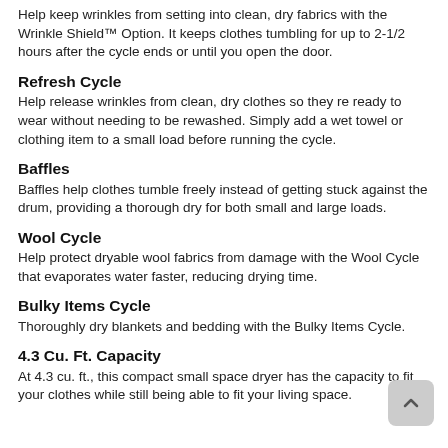Help keep wrinkles from setting into clean, dry fabrics with the Wrinkle Shield™ Option. It keeps clothes tumbling for up to 2-1/2 hours after the cycle ends or until you open the door.
Refresh Cycle
Help release wrinkles from clean, dry clothes so they re ready to wear without needing to be rewashed. Simply add a wet towel or clothing item to a small load before running the cycle.
Baffles
Baffles help clothes tumble freely instead of getting stuck against the drum, providing a thorough dry for both small and large loads.
Wool Cycle
Help protect dryable wool fabrics from damage with the Wool Cycle that evaporates water faster, reducing drying time.
Bulky Items Cycle
Thoroughly dry blankets and bedding with the Bulky Items Cycle.
4.3 Cu. Ft. Capacity
At 4.3 cu. ft., this compact small space dryer has the capacity to fit your clothes while still being able to fit your living space.